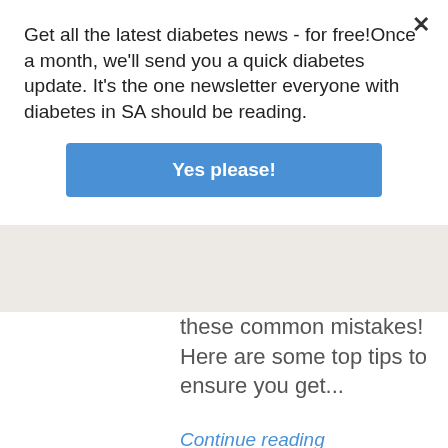Get all the latest diabetes news - for free!Once a month, we'll send you a quick diabetes update. It's the one newsletter everyone with diabetes in SA should be reading.
Yes please!
these common mistakes! Here are some top tips to ensure you get...
Continue reading
ADVICE: